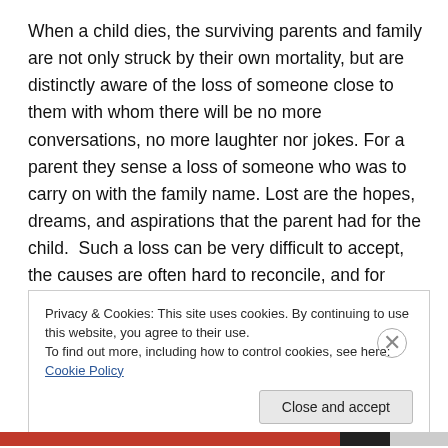When a child dies, the surviving parents and family are not only struck by their own mortality, but are distinctly aware of the loss of someone close to them with whom there will be no more conversations, no more laughter nor jokes. For a parent they sense a loss of someone who was to carry on with the family name. Lost are the hopes, dreams, and aspirations that the parent had for the child.  Such a loss can be very difficult to accept, the causes are often hard to reconcile, and for those outside the family, such loss may be hard to understand.
Privacy & Cookies: This site uses cookies. By continuing to use this website, you agree to their use.
To find out more, including how to control cookies, see here: Cookie Policy